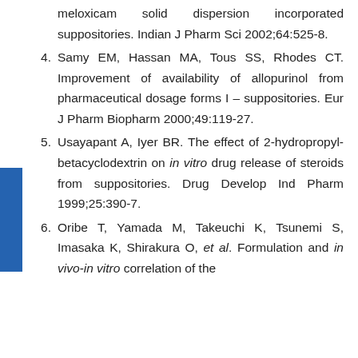(continuation of item 3) meloxicam solid dispersion incorporated suppositories. Indian J Pharm Sci 2002;64:525-8.
4. Samy EM, Hassan MA, Tous SS, Rhodes CT. Improvement of availability of allopurinol from pharmaceutical dosage forms I – suppositories. Eur J Pharm Biopharm 2000;49:119-27.
5. Usayapant A, Iyer BR. The effect of 2-hydropropyl-betacyclodextrin on in vitro drug release of steroids from suppositories. Drug Develop Ind Pharm 1999;25:390-7.
6. Oribe T, Yamada M, Takeuchi K, Tsunemi S, Imasaka K, Shirakura O, et al. Formulation and in vivo-in vitro correlation of the